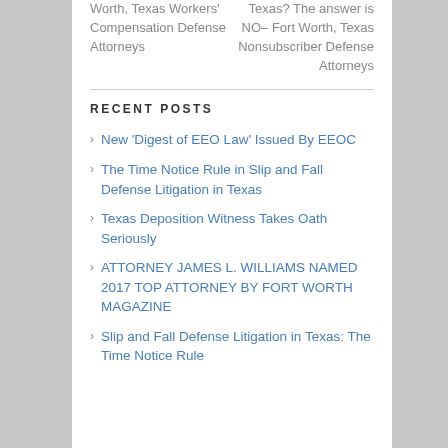Worth, Texas Workers' Compensation Defense Attorneys
Texas? The answer is NO– Fort Worth, Texas Nonsubscriber Defense Attorneys
RECENT POSTS
New 'Digest of EEO Law' Issued By EEOC
The Time Notice Rule in Slip and Fall Defense Litigation in Texas
Texas Deposition Witness Takes Oath Seriously
ATTORNEY JAMES L. WILLIAMS NAMED 2017 TOP ATTORNEY BY FORT WORTH MAGAZINE
Slip and Fall Defense Litigation in Texas: The Time Notice Rule